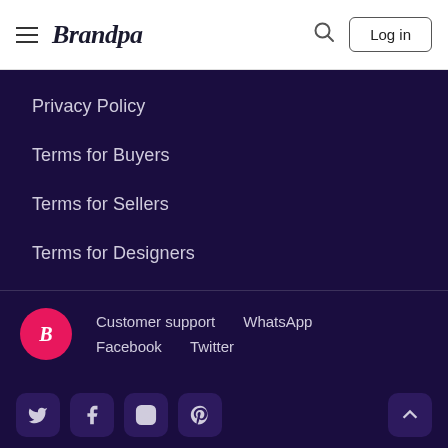Brandpa — Log in
Privacy Policy
Terms for Buyers
Terms for Sellers
Terms for Designers
Customer support   WhatsApp   Facebook   Twitter
Twitter  Facebook  Instagram  Pinterest  (scroll to top)